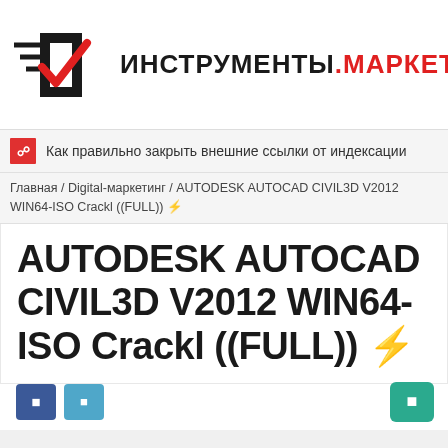[Figure (logo): Инструменты Маркетолога logo with checkmark icon and Russian text ИНСТРУМЕНТЫ.МАРКЕТОЛОГА]
Как правильно закрыть внешние ссылки от индексации
Главная / Digital-маркетинг / AUTODESK AUTOCAD CIVIL3D V2012 WIN64-ISO Crackl ((FULL)) ⚡
AUTODESK AUTOCAD CIVIL3D V2012 WIN64-ISO Crackl ((FULL)) ⚡